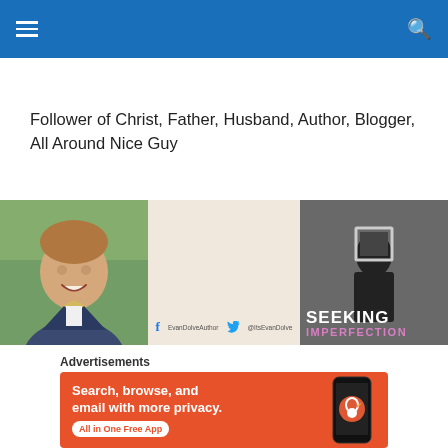Navigation header bar with hamburger menu and search icon
Follower of Christ, Father, Husband, Author, Blogger, All Around Nice Guy
[Figure (photo): Three-panel image strip: left panel shows a smiling young man in a suit with a bow tie; middle panel shows a light beige/neutral background with Facebook and Twitter social media handles (EvanDolveAuthor / @ItsEvanDolve); right panel shows a book cover titled 'SEEKING IMPERFECTION' with a dark moody background featuring a silhouette holding a frame over their face]
Advertisements
[Figure (infographic): DuckDuckGo advertisement banner on orange background. Text: 'Search, browse, and email with more privacy. All in One Free App' with a phone graphic on the right side showing the DuckDuckGo logo]